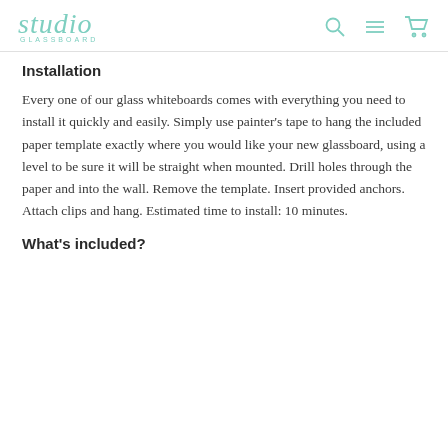studio GLASSBOARD
Installation
Every one of our glass whiteboards comes with everything you need to install it quickly and easily. Simply use painter's tape to hang the included paper template exactly where you would like your new glassboard, using a level to be sure it will be straight when mounted. Drill holes through the paper and into the wall. Remove the template. Insert provided anchors. Attach clips and hang. Estimated time to install: 10 minutes.
What's included?